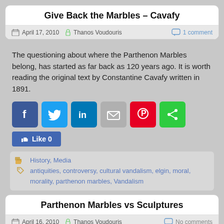Give Back the Marbles – Cavafy
April 17, 2010   Thanos Voudouris   1 comment
The questioning about where the Parthenon Marbles belong, has started as far back as 120 years ago. It is worth reading the original text by Constantine Cavafy written in 1891.
[Figure (infographic): Social sharing buttons: Facebook, Twitter, LinkedIn, Email, Pinterest, Share. Below: Facebook Like button with count 0.]
History, Media
antiquities, controversy, cultural vandalism, elgin, moral, morality, parthenon marbles, Vandalism
Parthenon Marbles vs Sculptures
April 16, 2010   Thanos Voudouris   No comments
was built between 447BC and 432BC, three sets